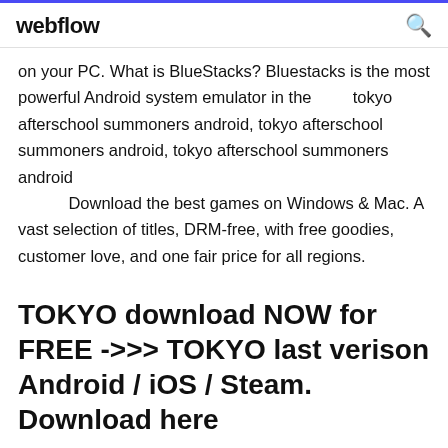webflow
on your PC. What is BlueStacks? Bluestacks is the most powerful Android system emulator in the        tokyo afterschool summoners android, tokyo afterschool summoners android, tokyo afterschool summoners android
           Download the best games on Windows & Mac. A vast selection of titles, DRM-free, with free goodies, customer love, and one fair price for all regions.
TOKYO download NOW for FREE ->>> TOKYO last verison Android / iOS / Steam. Download here